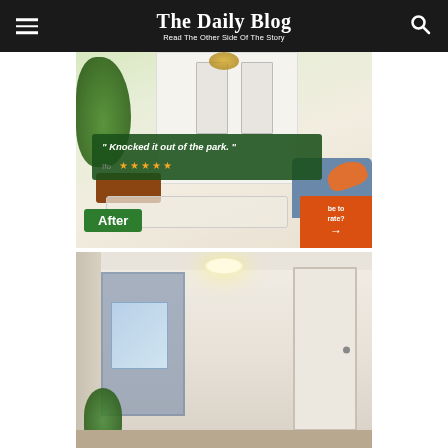The Daily Blog — Read The Other Side Of The Story
[Figure (photo): After photo of a renovated room with plants, furniture, and a green banner overlay reading 'Knocked it out of the park.' with 5 stars, plus an 'After' label and orange CTA button.]
[Figure (photo): Before photo of a hallway/room interior with white walls, ceiling light, doors, and plant in corner.]